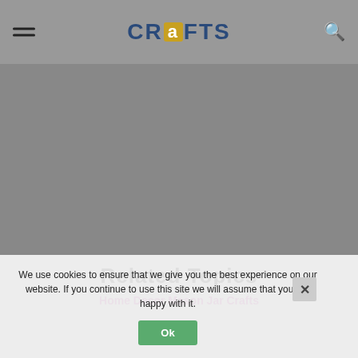CRAFTS
[Figure (illustration): Gray placeholder content area, large empty rectangle below the header]
Related Topics
Home Decor Mason Jar Crafts
We use cookies to ensure that we give you the best experience on our website. If you continue to use this site we will assume that you are happy with it.
Ok